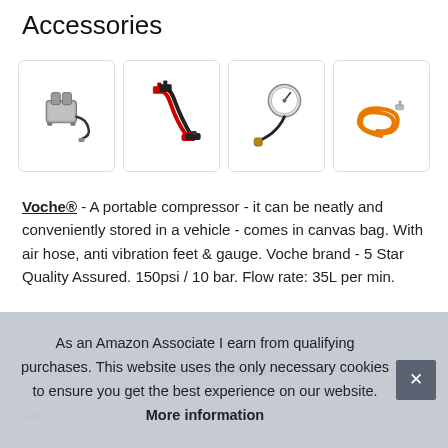Accessories
[Figure (photo): Four product accessory photos in a row: a portable air compressor, jumper cables (red and black), a tire pressure gauge with hose, and an orange coiled air hose.]
Voche® - A portable compressor - it can be neatly and conveniently stored in a vehicle - comes in canvas bag. With air hose, anti vibration feet & gauge. Voche brand - 5 Star Quality Assured. 150psi / 10 bar. Flow rate: 35L per min.
More information
As an Amazon Associate I earn from qualifying purchases. This website uses the only necessary cookies to ensure you get the best experience on our website. More information